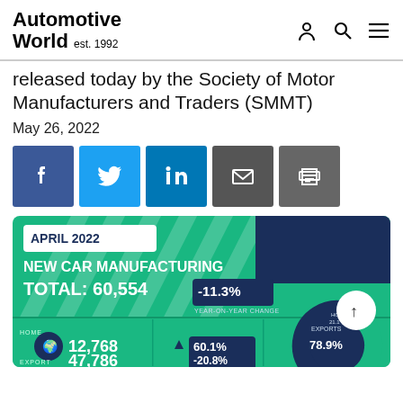Automotive World est. 1992
released today by the Society of Motor Manufacturers and Traders (SMMT)
May 26, 2022
[Figure (infographic): SMMT April 2022 New Car Manufacturing infographic. TOTAL: 60,554 with -11.3% year-on-year change. HOME: 12,768 with 60.1% year-on-year change. EXPORT: 47,786 with -20.8% year-on-year change. EXPORTS 78.9%, HOME 21.1% donut chart.]